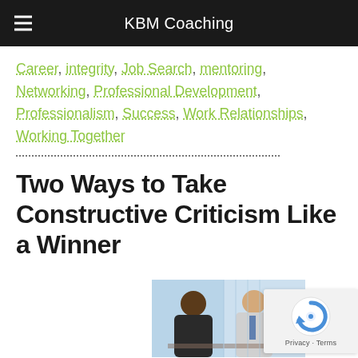KBM Coaching
Career, integrity, Job Search, mentoring, Networking, Professional Development, Professionalism, Success, Work Relationships, Working Together
Two Ways to Take Constructive Criticism Like a Winner
[Figure (photo): Two men in a business setting appearing to have a conversation, one facing the other across a desk or table, with a plant in the background]
[Figure (other): reCAPTCHA Privacy Terms badge]